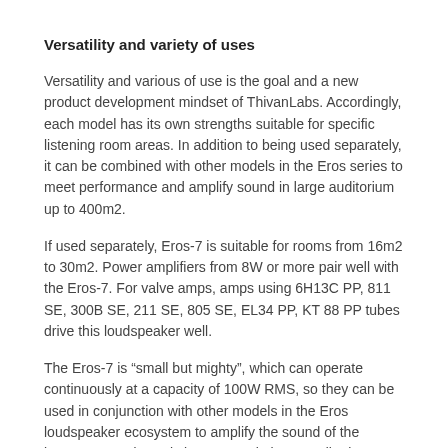Versatility and variety of uses
Versatility and various of use is the goal and a new product development mindset of ThivanLabs. Accordingly, each model has its own strengths suitable for specific listening room areas. In addition to being used separately, it can be combined with other models in the Eros series to meet performance and amplify sound in large auditorium up to 400m2.
If used separately, Eros-7 is suitable for rooms from 16m2 to 30m2. Power amplifiers from 8W or more pair well with the Eros-7. For valve amps, amps using 6H13C PP, 811 SE, 300B SE, 211 SE, 805 SE, EL34 PP, KT 88 PP tubes drive this loudspeaker well.
The Eros-7 is “small but mighty”, which can operate continuously at a capacity of 100W RMS, so they can be used in conjunction with other models in the Eros loudspeaker ecosystem to amplify the sound of the instrument and vocals in concerts in large auditoriums. Through tests in an auditorium of 200 guests, Eros-7 in collaboration with Eros-12 performed very impressively,